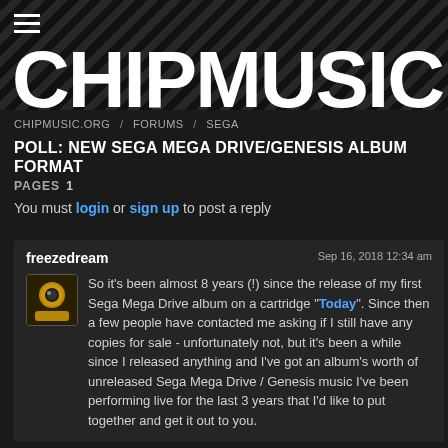[Figure (logo): CHIPMUSIC logo in large bold white uppercase text on dark diagonal-striped background]
CHIPMUSIC.ORG / FORUMS / SEGA
POLL: NEW SEGA MEGA DRIVE/GENESIS ALBUM FORMAT
PAGES 1
You must login or sign up to post a reply
freezedream
Sep 16, 2018 12:34 am
So it's been almost 8 years (!) since the release of my first Sega Mega Drive album on a cartridge "Today". Since then a few people have contacted me asking if I still have any copies for sale - unfortunately not, but it's been a while since I released anything and I've got an album's worth of unreleased Sega Mega Drive / Genesis music I've been performing live for the last 3 years that I'd like to put together and get it out to you.